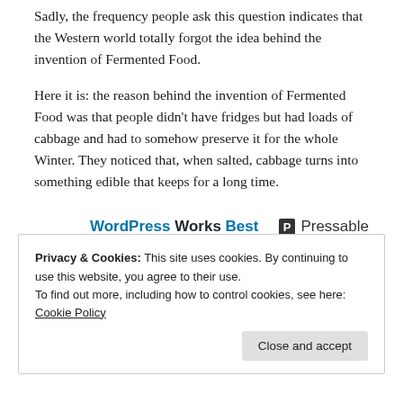Sadly, the frequency people ask this question indicates that the Western world totally forgot the idea behind the invention of Fermented Food.
Here it is: the reason behind the invention of Fermented Food was that people didn't have fridges but had loads of cabbage and had to somehow preserve it for the whole Winter. They noticed that, when salted, cabbage turns into something edible that keeps for a long time.
[Figure (other): Advertisement banner: 'WordPress Works Best' on the left and 'P Pressable' logo on the right, with 'REPORT THIS AD' text below right]
Privacy & Cookies: This site uses cookies. By continuing to use this website, you agree to their use.
To find out more, including how to control cookies, see here: Cookie Policy
Close and accept